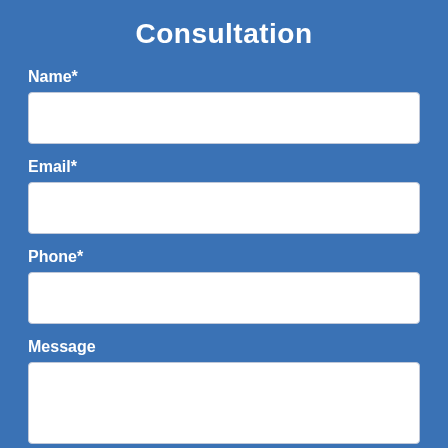Consultation
Name*
[Figure (other): Empty text input field for Name]
Email*
[Figure (other): Empty text input field for Email]
Phone*
[Figure (other): Empty text input field for Phone]
Message
[Figure (other): Empty textarea input field for Message]